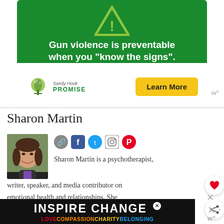[Figure (illustration): Sandy Hook Promise advertisement banner with green background, warning triangle icon, white text 'Gun violence is preventable when you "know the signs".', Sandy Hook Promise logo (tree icon), and a yellow 'Learn More' button]
Sharon Martin
[Figure (photo): Headshot photo of Sharon Martin, a woman with dark hair, smiling, wearing a dark jacket]
Sharon Martin is a psychotherapist, writer, speaker, and media contributor on emotional health and relationships. She
[Figure (illustration): INSPIRE CHANGE advertisement banner with rainbow colored text 'LOVE COMPASSION CHARITY BELONGING' on dark background]